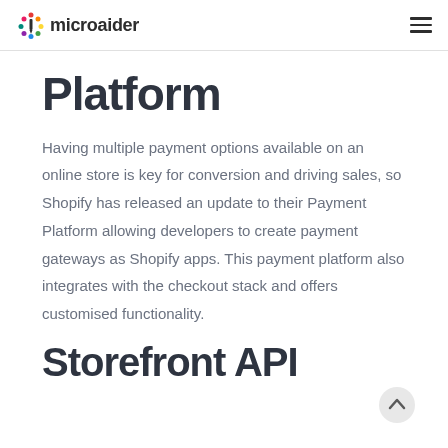microaider
Platform
Having multiple payment options available on an online store is key for conversion and driving sales, so Shopify has released an update to their Payment Platform allowing developers to create payment gateways as Shopify apps. This payment platform also integrates with the checkout stack and offers customised functionality.
Storefront API